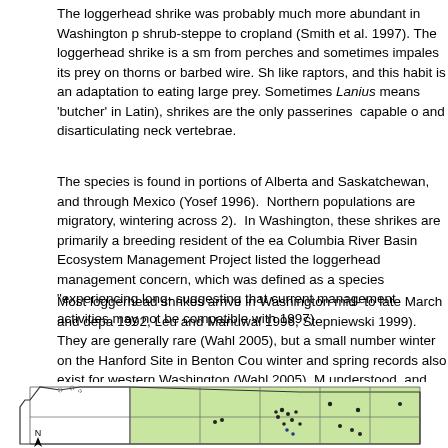The loggerhead shrike was probably much more abundant in Washington p... shrub-steppe to cropland (Smith et al. 1997). The loggerhead shrike is a sm... from perches and sometimes impales its prey on thorns or barbed wire. Sh... like raptors, and this habit is an adaptation to eating large prey. Sometimes Lanius means 'butcher' in Latin), shrikes are the only passerines capable o... and disarticulating neck vertebrae.
The species is found in portions of Alberta and Saskatchewan, and through... Mexico (Yosef 1996). Northern populations are migratory, wintering across... 2). In Washington, these shrikes are primarily a breeding resident of the ea... Columbia River Basin Ecosystem Management Project listed the loggerhead... management concern, which was defined as a species "experiencing long-... suggesting that current management activities may not be compatible with... 1997).
Most loggerhead shrikes arrive in Washington mid- to late March and depa... 1992, Leu and Manuwal 1996, Stepniewski 1999). They are generally rare... (Wahl 2005), but a small number winter on the Hanford Site in Benton Cou... winter and spring records also exist for western Washington (Wahl 2005). N... understood, and the wintering areas of birds breeding in Washington are un...
[Figure (map): Partial map of Washington state showing distribution points (dots) for loggerhead shrike sightings. Map shows county boundaries, with a north arrow indicator. Green shading on eastern portion of state. Several black dots scattered across central and eastern Washington.]